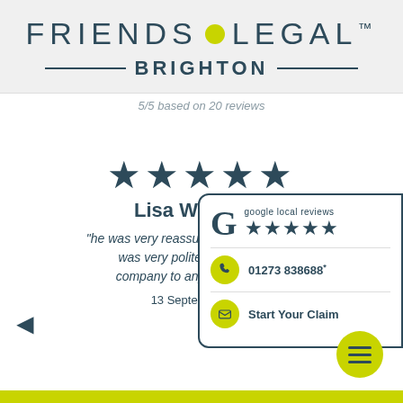[Figure (logo): Friends Legal Brighton logo with yellow dot and TM mark]
5/5 based on 20 reviews
[Figure (infographic): Five star review from Lisa Woodward with quote about reassuring service, dated 13 September 20xx]
[Figure (infographic): Google local reviews popup with 5 stars, phone number 01273 838688 and Start Your Claim button]
[Figure (other): Yellow hamburger menu button]